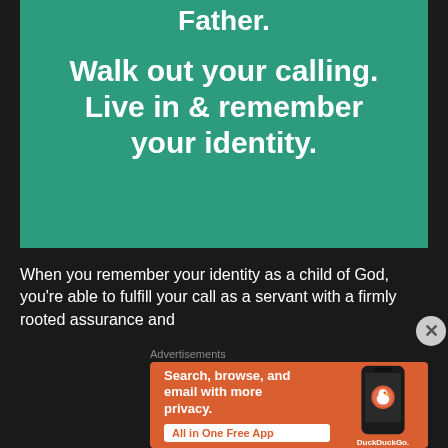[Figure (illustration): Green teal banner with white bold text: 'Father.' at top, then 'Walk out your calling. Live in & remember your identity.']
When you remember your identity as a child of God, you're able to fulfill your call as a servant with a firmly rooted assurance and
Advertisements
[Figure (screenshot): DuckDuckGo advertisement on orange background: 'Search, browse, and email with more privacy. All in One Free App' with a phone image and DuckDuckGo logo.]